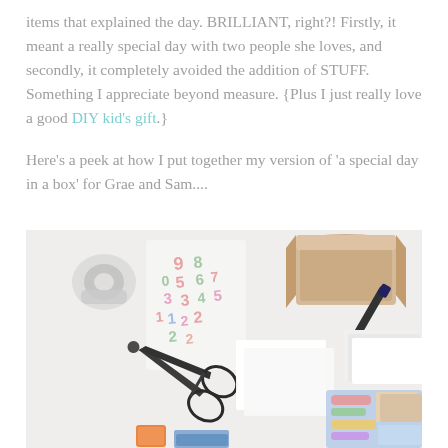items that explained the day. BRILLIANT, right?! Firstly, it meant a really special day with two people she loves, and secondly, it completely avoided the addition of STUFF. Something I appreciate beyond measure. {Plus I just really love a good DIY kid's gift.}
Here's a peek at how I put together my version of 'a special day in a box' for Grae and Sam....
[Figure (photo): Overhead flat-lay photo on a white surface showing craft supplies: black scissors, a tape dispenser, colorful letter/number stickers, a kraft cardboard box, a black marker, white envelopes, washi tape rolls, and various colorful craft items.]